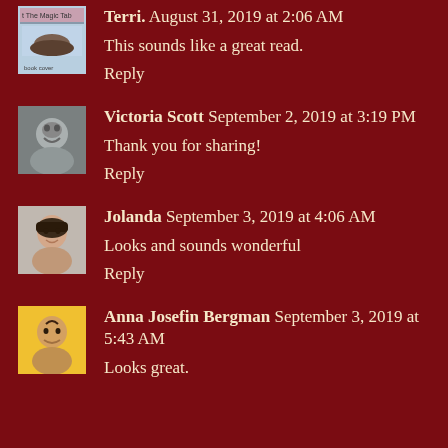Terri. August 31, 2019 at 2:06 AM
This sounds like a great read.
Reply
Victoria Scott September 2, 2019 at 3:19 PM
Thank you for sharing!
Reply
Jolanda September 3, 2019 at 4:06 AM
Looks and sounds wonderful
Reply
Anna Josefin Bergman September 3, 2019 at 5:43 AM
Looks great.